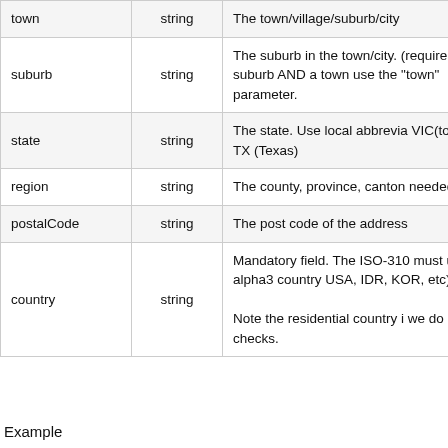|  | string |  |
| --- | --- | --- |
| town | string | The town/village/suburb/city |
| suburb | string | The suburb in the town/city. (require a suburb AND a town use the "town" parameter. |
| state | string | The state. Use local abbrevia VIC(toria) or TX (Texas) |
| region | string | The county, province, canton needed) |
| postalCode | string | The post code of the address |
| country | string | Mandatory field. The ISO-310 must use the alpha3 country USA, IDR, KOR, etc) We'll co

Note the residential country i we do our checks. |
Example